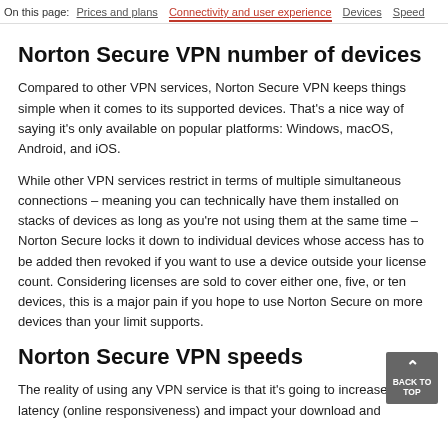On this page: Prices and plans  Connectivity and user experience  Devices  Speed
Norton Secure VPN number of devices
Compared to other VPN services, Norton Secure VPN keeps things simple when it comes to its supported devices. That's a nice way of saying it's only available on popular platforms: Windows, macOS, Android, and iOS.
While other VPN services restrict in terms of multiple simultaneous connections – meaning you can technically have them installed on stacks of devices as long as you're not using them at the same time – Norton Secure locks it down to individual devices whose access has to be added then revoked if you want to use a device outside your license count. Considering licenses are sold to cover either one, five, or ten devices, this is a major pain if you hope to use Norton Secure on more devices than your limit supports.
Norton Secure VPN speeds
The reality of using any VPN service is that it's going to increase the latency (online responsiveness) and impact your download and